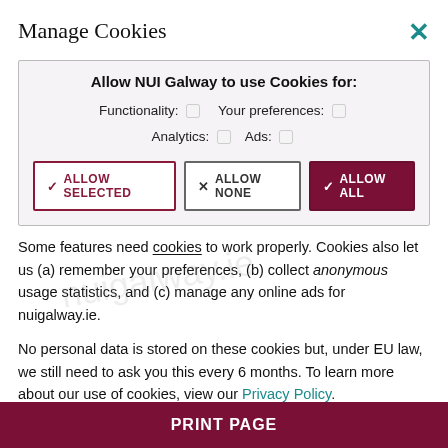Manage Cookies
[Figure (screenshot): Cookie consent dialog box with checkboxes for Functionality, Your preferences, Analytics, and Ads. Three buttons: ALLOW SELECTED (outlined, crimson), ALLOW NONE (outlined, grey), ALLOW ALL (filled crimson/dark red).]
Some features need cookies to work properly. Cookies also let us (a) remember your preferences, (b) collect anonymous usage statistics, and (c) manage any online ads for nuigalway.ie.
No personal data is stored on these cookies but, under EU law, we still need to ask you this every 6 months. To learn more about our use of cookies, view our Privacy Policy.
PRINT PAGE